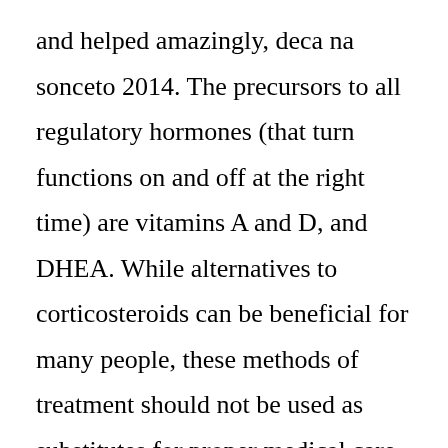and helped amazingly, deca na sonceto 2014. The precursors to all regulatory hormones (that turn functions on and off at the right time) are vitamins A and D, and DHEA. While alternatives to corticosteroids can be beneficial for many people, these methods of treatment should not be used as substitutes for proper medical care, deca na sonceto 2014. A doctor or other health care professional should be consulted before beginning any new treatment program. D-Bal Anadrole Trenorol Testo-Max Decaduro, deca na